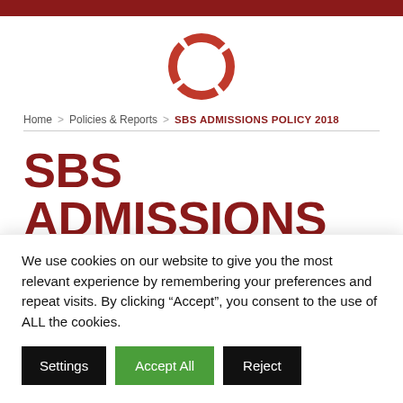[Figure (logo): SBS circular logo mark in red — a ring made of four arc segments with gaps]
Home > Policies & Reports > SBS ADMISSIONS POLICY 2018
SBS ADMISSIONS POLICY 2018
We use cookies on our website to give you the most relevant experience by remembering your preferences and repeat visits. By clicking “Accept”, you consent to the use of ALL the cookies.